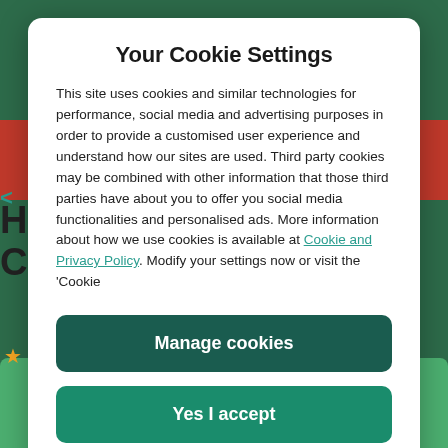Your Cookie Settings
This site uses cookies and similar technologies for performance, social media and advertising purposes in order to provide a customised user experience and understand how our sites are used. Third party cookies may be combined with other information that those third parties have about you to offer you social media functionalities and personalised ads. More information about how we use cookies is available at Cookie and Privacy Policy. Modify your settings now or visit the ‘Cookie
Manage cookies
Yes I accept